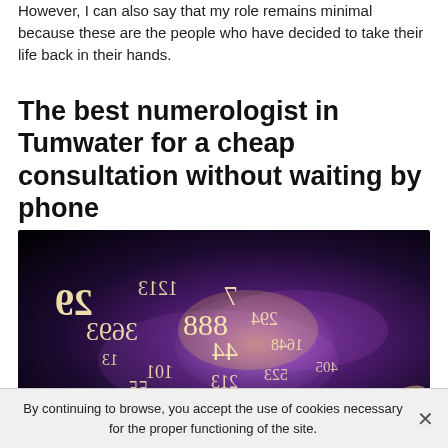However, I can also say that my role remains minimal because these are the people who have decided to take their life back in their hands.
The best numerologist in Tumwater for a cheap consultation without waiting by phone
[Figure (photo): A hand with mystical numerology numbers floating above it in golden/white script on a dark purple and black background with glowing light effect.]
By continuing to browse, you accept the use of cookies necessary for the proper functioning of the site.